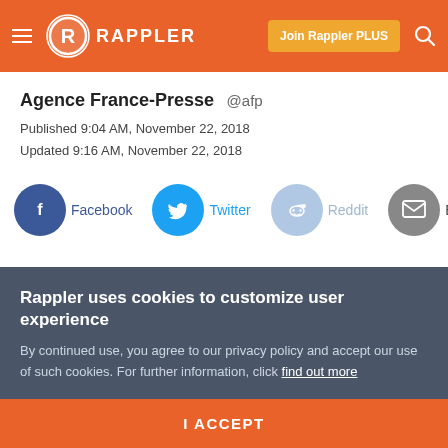Rappler — Join Rappler PLUS
Agence France-Presse @afp
Published 9:04 AM, November 22, 2018
Updated 9:16 AM, November 22, 2018
[Figure (other): Social share buttons: Facebook, Twitter, Reddit, Email]
Rappler uses cookies to customize user experience
By continued use, you agree to our privacy policy and accept our use of such cookies. For further information, click find out more
I ACCEPT